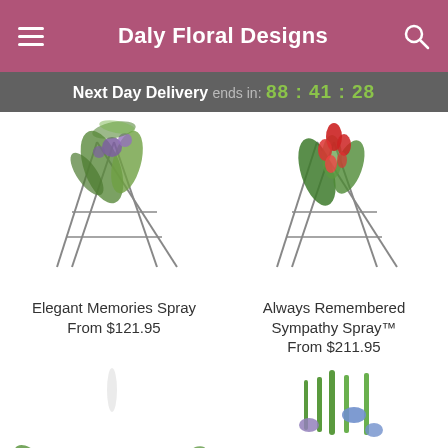Daly Floral Designs
Next Day Delivery ends in: 88 : 41 : 28
[Figure (photo): Elegant spray flower arrangement on a metal easel stand with tropical green and purple flowers]
Elegant Memories Spray
From $121.95
[Figure (photo): Always Remembered Sympathy Spray on metal easel with red tropical flowers and greenery]
Always Remembered Sympathy Spray™
From $211.95
[Figure (photo): White and pink flower basket arrangement with daisies, carnations and greenery]
[Figure (photo): Bright colorful flower arrangement with yellow, purple, orange blooms and tall green stems]